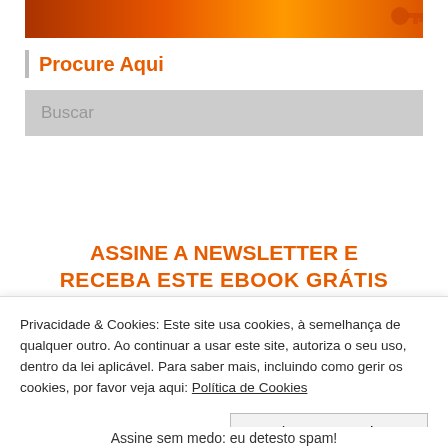[Figure (photo): Orange and red gradient banner image with a decorative icon/key element on right side]
Procure Aqui
Buscar
ASSINE A NEWSLETTER E RECEBA ESTE EBOOK GRÁTIS
Privacidade & Cookies: Este site usa cookies, à semelhança de qualquer outro. Ao continuar a usar este site, autoriza o seu uso, dentro da lei aplicável. Para saber mais, incluindo como gerir os cookies, por favor veja aqui: Política de Cookies
Fechar e Aceitar
Assine sem medo: eu detesto spam!